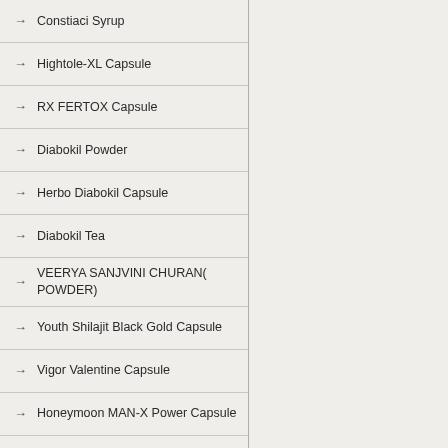Constiaci Syrup
Hightole-XL Capsule
RX FERTOX Capsule
Diabokil Powder
Herbo Diabokil Capsule
Diabokil Tea
VEERYA SANJVINI CHURAN( POWDER)
Youth Shilajit Black Gold Capsule
Vigor Valentine Capsule
Honeymoon MAN-X Power Capsule
SEKS MAX POWER Capsule
Rishi Swarnbhasam/Kushta Special Capsule
Rishi Heerabhasm / Kushta Special Capsule
Headache Relief Tea